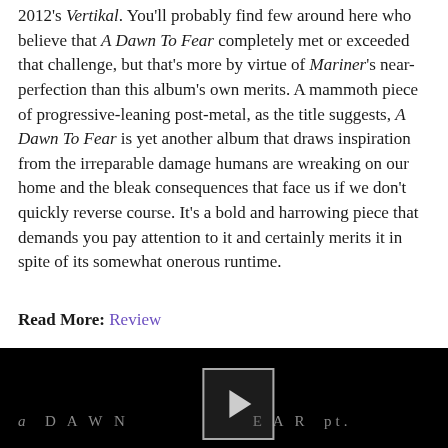2012's Vertikal. You'll probably find few around here who believe that A Dawn To Fear completely met or exceeded that challenge, but that's more by virtue of Mariner's near-perfection than this album's own merits. A mammoth piece of progressive-leaning post-metal, as the title suggests, A Dawn To Fear is yet another album that draws inspiration from the irreparable damage humans are wreaking on our home and the bleak consequences that face us if we don't quickly reverse course. It's a bold and harrowing piece that demands you pay attention to it and certainly merits it in spite of its somewhat onerous runtime.
Read More: Review
[Figure (screenshot): Embedded video player with black background showing the text 'a DAWN [play button] F E A R pt.' in grey letters. A play button icon is visible in the center.]